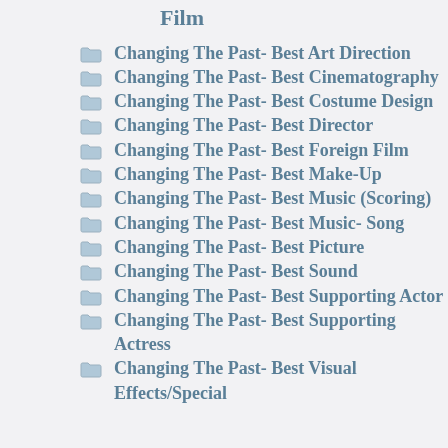Film
Changing The Past- Best Art Direction
Changing The Past- Best Cinematography
Changing The Past- Best Costume Design
Changing The Past- Best Director
Changing The Past- Best Foreign Film
Changing The Past- Best Make-Up
Changing The Past- Best Music (Scoring)
Changing The Past- Best Music- Song
Changing The Past- Best Picture
Changing The Past- Best Sound
Changing The Past- Best Supporting Actor
Changing The Past- Best Supporting Actress
Changing The Past- Best Visual Effects/Special Effects